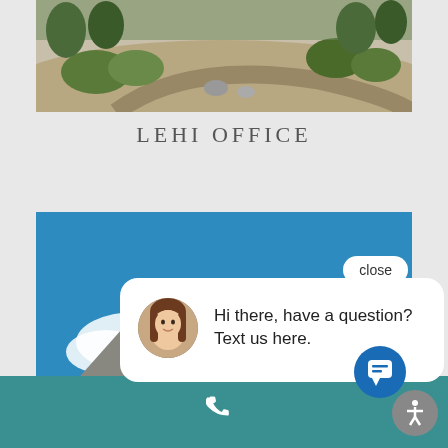[Figure (photo): Aerial/ground view of a landscaped area with a curved driveway, rocks, and shrubs — Lehi office exterior]
LEHI OFFICE
[Figure (screenshot): Screenshot of a website showing a building exterior (brick building with mountains) with a chat popup saying 'Hi there, have a question? Text us here.' with a close button, a chat bubble with a woman's avatar, and a teal bottom bar with phone and accessibility icons]